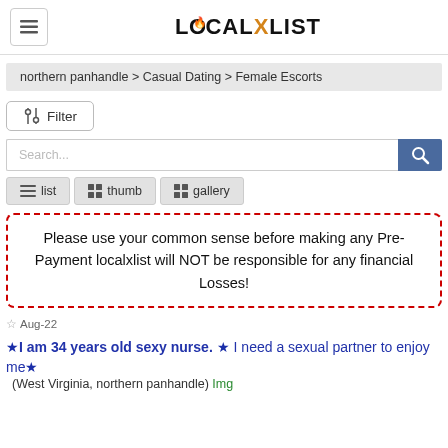LOCALXLIST
northern panhandle > Casual Dating > Female Escorts
⚙ Filter
Search...
≡ list   ⊞ thumb   ⊞ gallery
Please use your common sense before making any Pre-Payment localxlist will NOT be responsible for any financial Losses!
☆ Aug-22 ★I am 34 years old sexy nurse. ★ I need a sexual partner to enjoy me★
(West Virginia, northern panhandle) Img